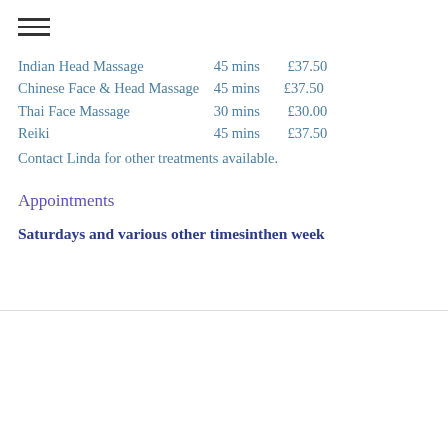Indian Head Massage   45 mins  £37.50
Chinese Face & Head Massage   45 mins  £37.50
Thai Face Massage   30 mins  £30.00
Reiki   45 mins  £37.50
Contact Linda for other treatments available.
Appointments
Saturdays and various other timesinthen week